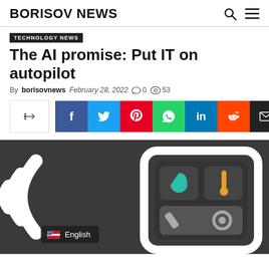BORISOV NEWS
TECHNOLOGY NEWS
The AI promise: Put IT on autopilot
By borisovnews  February 28, 2022  0  53
[Figure (infographic): Social share bar with native share button, Facebook, Twitter, Pinterest, WhatsApp, LinkedIn, Reddit, and Email buttons]
[Figure (illustration): Dark background illustration showing a wifi/radio signal icon on the left and a smart home control panel device with water droplet, thermometer, and sun/light icons on the right. An English language selector badge is shown at the bottom left.]